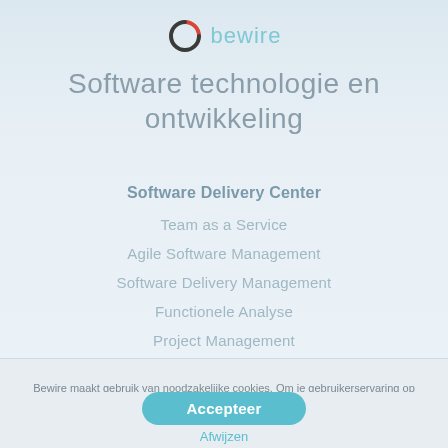[Figure (logo): Bewire logo: circular icon with red and dark grey halves, followed by the text 'bewire' in teal/light blue]
Software technologie en ontwikkeling
Software Delivery Center
Team as a Service
Agile Software Management
Software Delivery Management
Functionele Analyse
Project Management
Bewire maakt gebruik van noodzakelijke cookies. Om je gebruikerservaring op onze website te optimaliseren maken we ook gebruik van optionele cookies waarvoor we je toestemming vragen. Lees meer
Accepteer
Afwijzen